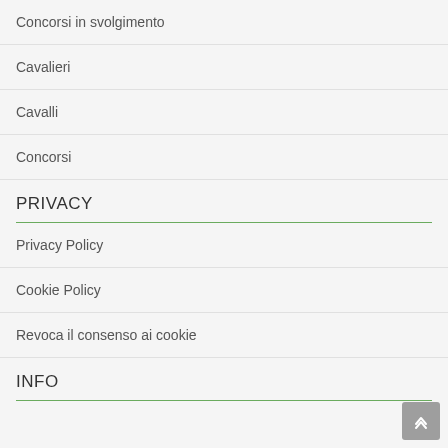Concorsi in svolgimento
Cavalieri
Cavalli
Concorsi
PRIVACY
Privacy Policy
Cookie Policy
Revoca il consenso ai cookie
INFO